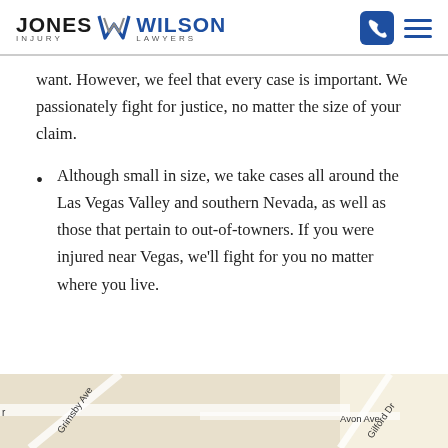JONES WILSON INJURY LAWYERS
want. However, we feel that every case is important. We passionately fight for justice, no matter the size of your claim.
Although small in size, we take cases all around the Las Vegas Valley and southern Nevada, as well as those that pertain to out-of-towners. If you were injured near Vegas, we’ll fight for you no matter where you live.
[Figure (map): Street map showing Grimsby Ave, Gilford Dr, and Avon Ave in Las Vegas area]